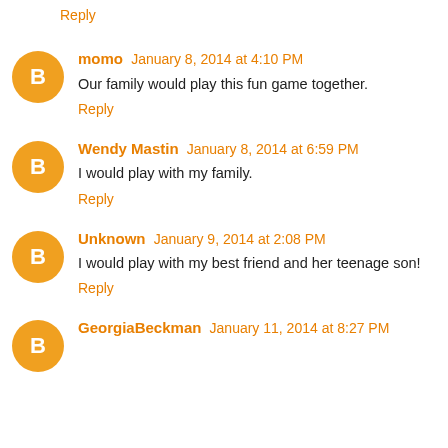Reply
momo January 8, 2014 at 4:10 PM
Our family would play this fun game together.
Reply
Wendy Mastin January 8, 2014 at 6:59 PM
I would play with my family.
Reply
Unknown January 9, 2014 at 2:08 PM
I would play with my best friend and her teenage son!
Reply
GeorgiaBeckman January 11, 2014 at 8:27 PM